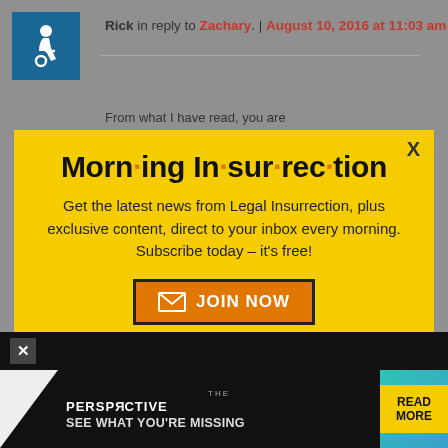[Figure (screenshot): Accessibility icon (wheelchair user) in blue square]
Rick in reply to Zachary. | August 10, 2016 at 11:03 am
From what I have read, you are
[Figure (infographic): Yellow modal popup for Morning Insurrection newsletter signup with 'JOIN NOW' button]
somewhat embarrassed to write
congress if that is the price to
[Figure (screenshot): Bottom advertisement banner: THE PERSPECTIVE - SEE WHAT YOU'RE MISSING - READ MORE]